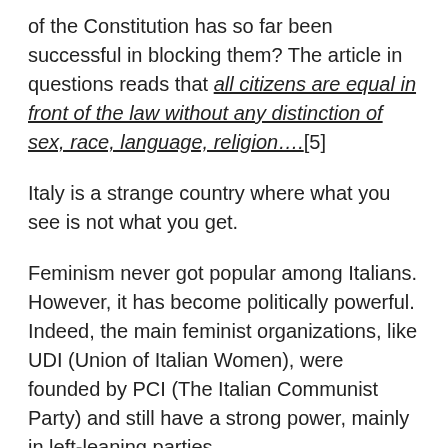of the Constitution has so far been successful in blocking them? The article in questions reads that all citizens are equal in front of the law without any distinction of sex, race, language, religion….[5]
Italy is a strange country where what you see is not what you get.
Feminism never got popular among Italians. However, it has become politically powerful. Indeed, the main feminist organizations, like UDI (Union of Italian Women), were founded by PCI (The Italian Communist Party) and still have a strong power, mainly in left-leaning parties.